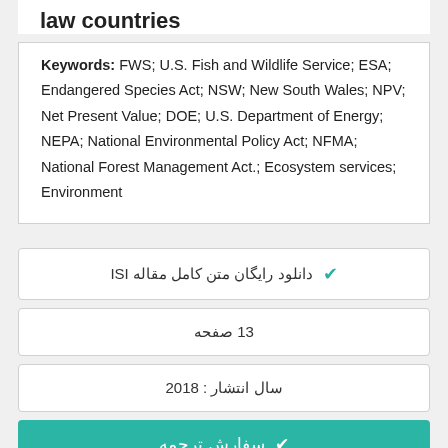law countries
Keywords: FWS; U.S. Fish and Wildlife Service; ESA; Endangered Species Act; NSW; New South Wales; NPV; Net Present Value; DOE; U.S. Department of Energy; NEPA; National Environmental Policy Act; NFMA; National Forest Management Act.; Ecosystem services; Environment
دانلود رایگان متن کامل مقاله ISI
13 صفحه
سال انتشار : 2018
سفارش ترجمه